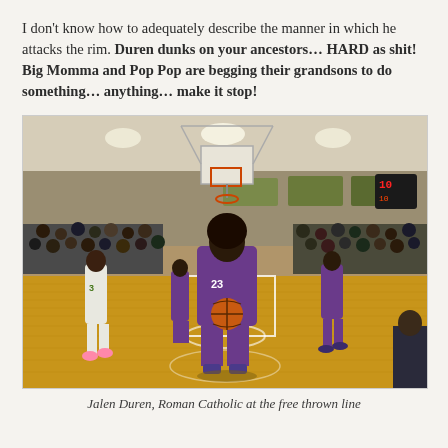I don't know how to adequately describe the manner in which he attacks the rim. Duren dunks on your ancestors… HARD as shit! Big Momma and Pop Pop are begging their grandsons to do something… anything… make it stop!
[Figure (photo): Jalen Duren (#23) in purple uniform holding a basketball at the free throw line on an indoor basketball court, with teammates and opponents around him and a packed crowd in the background.]
Jalen Duren, Roman Catholic at the free thrown line